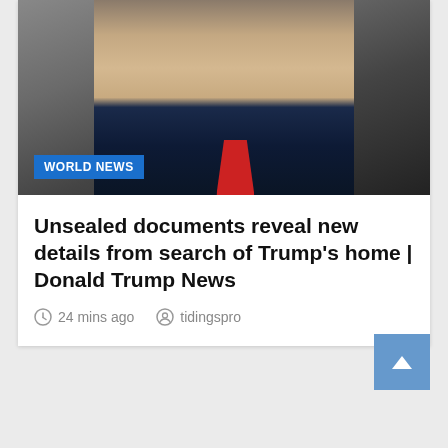[Figure (photo): Close-up photo of Donald Trump wearing a dark suit and red tie, looking stern, with a gray background]
Unsealed documents reveal new details from search of Trump's home | Donald Trump News
24 mins ago   tidingspro